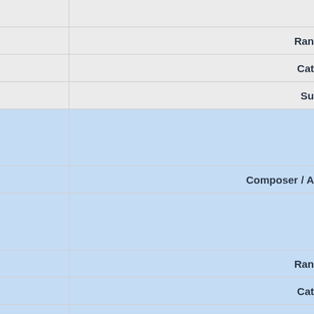|  |  |
|  | Ran… |
|  | Cat… |
|  | Su… |
|  |  |
|  | Composer / A… |
|  |  |
|  | Ran… |
|  | Cat… |
|  | Su… |
|  |  |
|  | Composer / A… |
|  |  |
|  | Ran… |